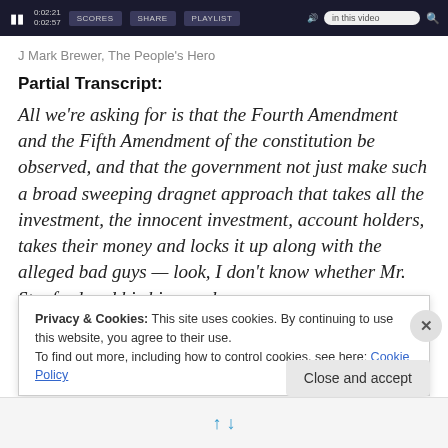[Figure (screenshot): Video player control bar with pause button, timestamps 0:02:21 / 0:02:57, SCORES, SHARE, PLAYLIST buttons, volume icon, and 'in this video' search box]
J Mark Brewer, The People's Hero
Partial Transcript:
All we're asking for is that the Fourth Amendment and the Fifth Amendment of the constitution be observed, and that the government not just make such a broad sweeping dragnet approach that takes all the investment, the innocent investment, account holders, takes their money and locks it up along with the alleged bad guys — look, I don't know whether Mr. Stanford and his his people are so
Privacy & Cookies: This site uses cookies. By continuing to use this website, you agree to their use.
To find out more, including how to control cookies, see here: Cookie Policy
Close and accept